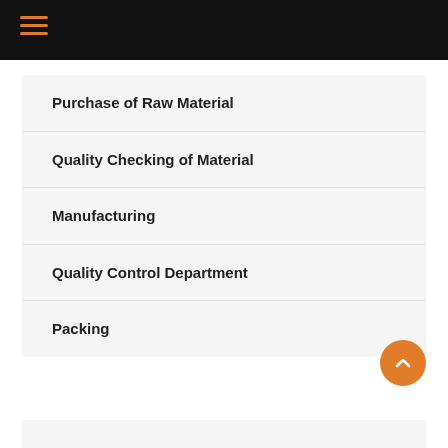Navigation menu bar with hamburger icon
Purchase of Raw Material
Quality Checking of Material
Manufacturing
Quality Control Department
Packing